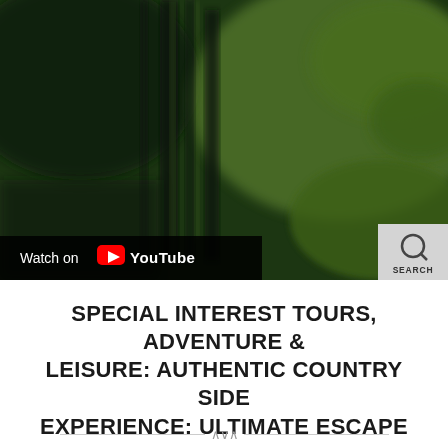[Figure (photo): Blurry green jungle/tropical foliage background image used as a YouTube video thumbnail. A dark semi-transparent bar at the bottom left reads 'Watch on YouTube' with the YouTube logo. A grey search button appears at the bottom right.]
SPECIAL INTEREST TOURS, ADVENTURE & LEISURE: AUTHENTIC COUNTRY SIDE EXPERIENCE: ULTIMATE ESCAPE